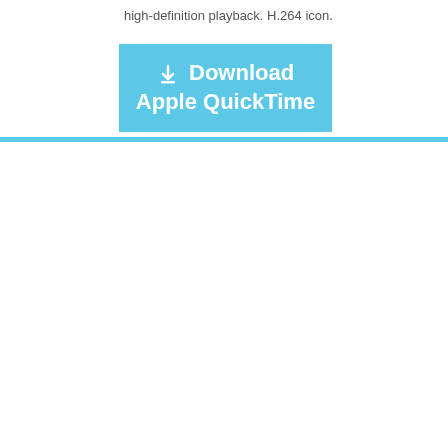high-definition playback. H.264 icon.
[Figure (other): Download button with download icon and text 'Download Apple QuickTime' on a light blue background]